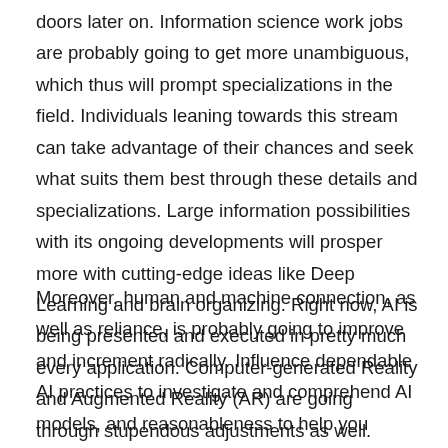doors later on. Information science work jobs are probably going to get more unambiguous, which thus will prompt specializations in the field. Individuals leaning towards this stream can take advantage of their chances and seek what suits them best through these details and specializations. Large information possibilities with its ongoing developments will prosper more with cutting-edge ideas like Deep Learning and brain organizing. Right now, AI is being presented and executed in pretty much every application. Computer-generated Reality and Augmented Reality (AR) are going through stupendous adjustments as well.
Moreover, human and machine connection, as well as reliance, is probably going to improve and increment radically. Influence dependable AI practices to investigate and comprehend AI models, and reasonableness to help you comprehend and decipher expectations made by your AI models. With these devices and systems, you can investigate and work on model execution and help